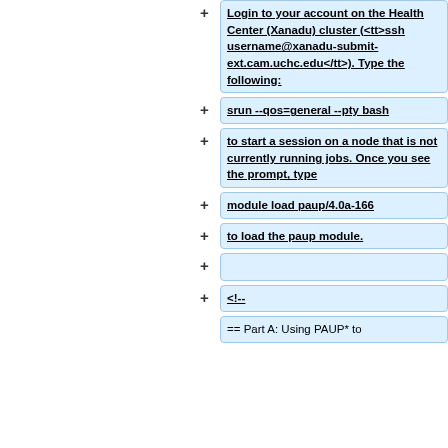+ Login to your account on the Health Center (Xanadu) cluster (<tt>ssh username@xanadu-submit-ext.cam.uchc.edu</tt>). Type the following:
+ srun --qos=general --pty bash
+ to start a session on a node that is not currently running jobs. Once you see the prompt, type
+ module load paup/4.0a-166
+ to load the paup module.
+
+ <!--
== Part A: Using PAUP* to